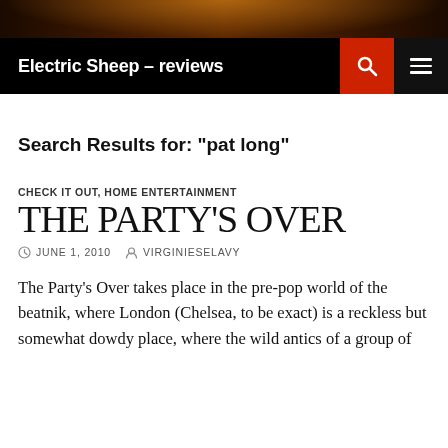[Figure (photo): Dark background image with warm orange glow, likely a night event or fire scene]
Electric Sheep – reviews
Search Results for: "pat long"
CHECK IT OUT, HOME ENTERTAINMENT
THE PARTY'S OVER
JUNE 1, 2010   VIRGINIESELAVY
The Party's Over takes place in the pre-pop world of the beatnik, where London (Chelsea, to be exact) is a reckless but somewhat dowdy place, where the wild antics of a group of